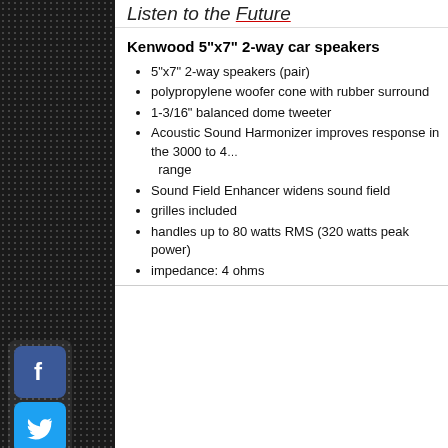Listen to the Future
Kenwood 5"x7" 2-way car speakers
5"x7" 2-way speakers (pair)
polypropylene woofer cone with rubber surround
1-3/16" balanced dome tweeter
Acoustic Sound Harmonizer improves response in the 3000 to 4000 Hz range
Sound Field Enhancer widens sound field
grilles included
handles up to 80 watts RMS (320 watts peak power)
impedance: 4 ohms
frequency response: 64-24,000 Hz
sensitivity: 88 dB
top-mount depth: 2-1/16"
warranty: 1 year